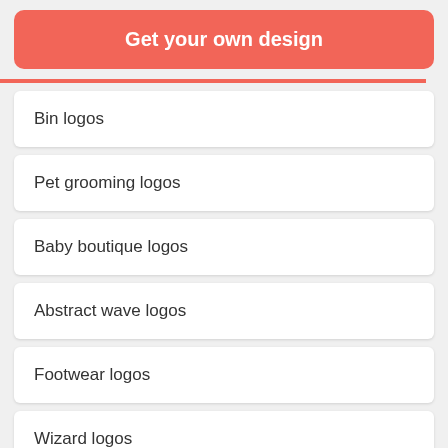Get your own design
Bin logos
Pet grooming logos
Baby boutique logos
Abstract wave logos
Footwear logos
Wizard logos